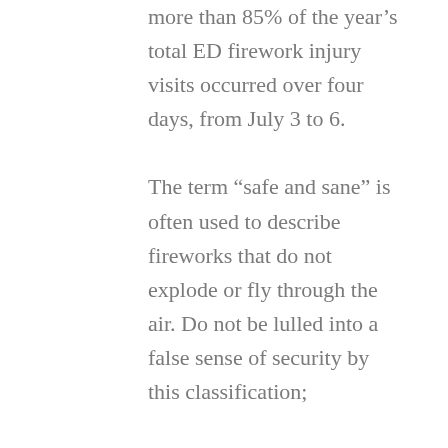more than 85% of the year's total ED firework injury visits occurred over four days, from July 3 to 6.

The term “safe and sane” is often used to describe fireworks that do not explode or fly through the air. Do not be lulled into a false sense of security by this classification;